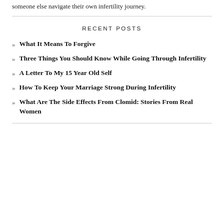someone else navigate their own infertility journey.
RECENT POSTS
What It Means To Forgive
Three Things You Should Know While Going Through Infertility
A Letter To My 15 Year Old Self
How To Keep Your Marriage Strong During Infertility
What Are The Side Effects From Clomid: Stories From Real Women